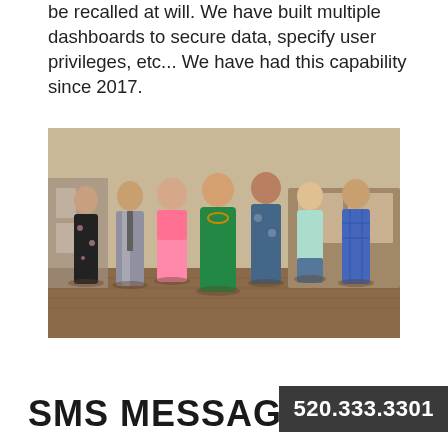be recalled at will. We have built multiple dashboards to secure data, specify user privileges, etc... We have had this capability since 2017.
[Figure (photo): Group photo of seven people standing together in an interior setting with wooden floors. One woman in the center wears a green dress.]
SMS MESSAGING
520.333.3301